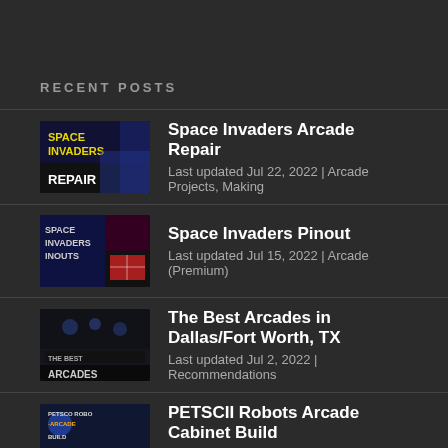RECENT POSTS
Space Invaders Arcade Repair
Last updated Jul 22, 2022 | Arcade Projects, Making
Space Invaders Pinout
Last updated Jul 15, 2022 | Arcade (Premium)
The Best Arcades in Dallas/Fort Worth, TX
Last updated Jul 2, 2022 | Recommendations
PETSCII Robots Arcade Cabinet Build
Last updated Jun 29, 2022 | Arcade Projects, Making